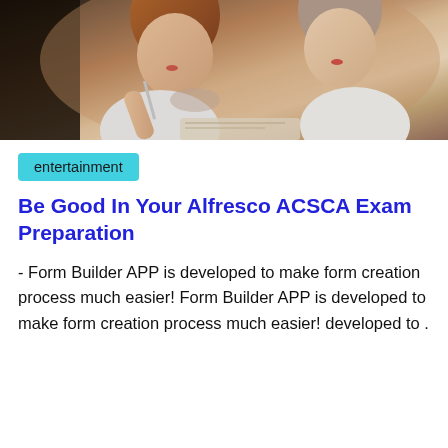[Figure (photo): Two young women studying together, one writing with a pen, books open, close-up shot with warm background lighting]
entertainment
Be Good In Your Alfresco ACSCA Exam Preparation
- Form Builder APP is developed to make form creation process much easier! Form Builder APP is developed to make form creation process much easier! developed to .